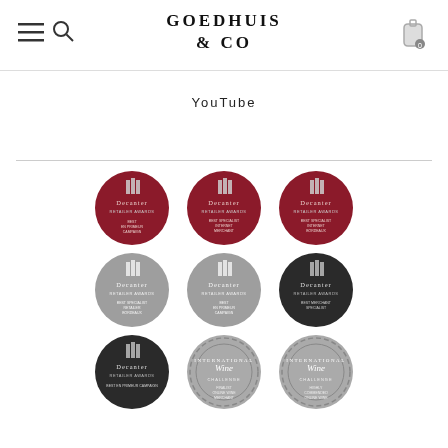GOEDHUIS & CO
YouTube
[Figure (logo): 9 award badges arranged in a 3x3 grid. Top row: 3 red Decanter Retailer Awards circular badges. Middle row: 2 silver/grey Decanter Retailer Awards badges and 1 dark/black Decanter Retailer Awards badge. Bottom row: 1 black Decanter Retailer Awards badge and 2 silver International Wine Challenge circular badges.]